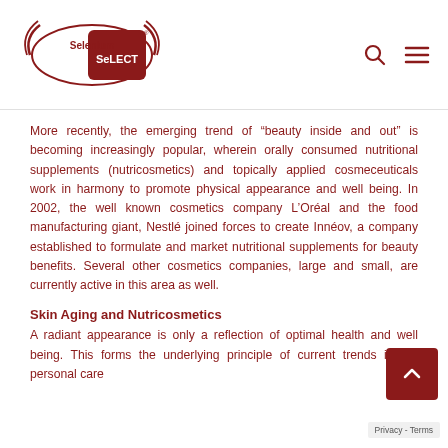Selenium SeLECT logo with navigation search and menu icons
More recently, the emerging trend of “beauty inside and out” is becoming increasingly popular, wherein orally consumed nutritional supplements (nutricosmetics) and topically applied cosmeceuticals work in harmony to promote physical appearance and well being. In 2002, the well known cosmetics company L’Oréal and the food manufacturing giant, Nestlé joined forces to create Innéov, a company established to formulate and market nutritional supplements for beauty benefits. Several other cosmetics companies, large and small, are currently active in this area as well.
Skin Aging and Nutricosmetics
A radiant appearance is only a reflection of optimal health and well being. This forms the underlying principle of current trends in the personal care